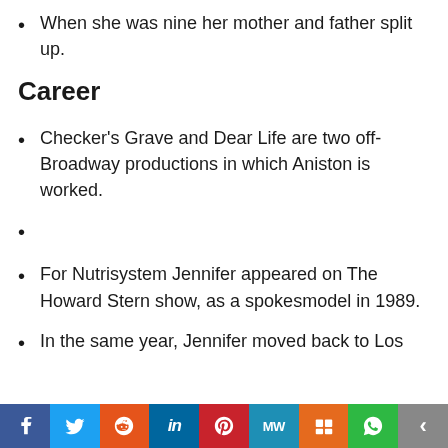When she was nine her mother and father split up.
Career
Checker's Grave and Dear Life are two off-Broadway productions in which Aniston is worked.
For Nutrisystem Jennifer appeared on The Howard Stern show, as a spokesmodel in 1989.
In the same year, Jennifer moved back to Los